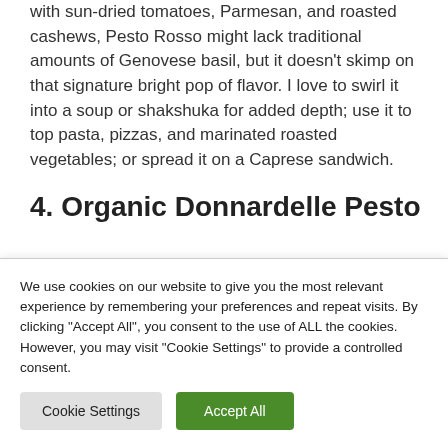with sun-dried tomatoes, Parmesan, and roasted cashews, Pesto Rosso might lack traditional amounts of Genovese basil, but it doesn't skimp on that signature bright pop of flavor. I love to swirl it into a soup or shakshuka for added depth; use it to top pasta, pizzas, and marinated roasted vegetables; or spread it on a Caprese sandwich.
4. Organic Donnardelle Pesto
We use cookies on our website to give you the most relevant experience by remembering your preferences and repeat visits. By clicking "Accept All", you consent to the use of ALL the cookies. However, you may visit "Cookie Settings" to provide a controlled consent.